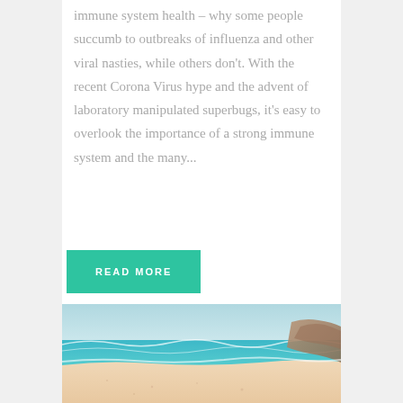immune system health – why some people succumb to outbreaks of influenza and other viral nasties, while others don't. With the recent Corona Virus hype and the advent of laboratory manipulated superbugs, it's easy to overlook the importance of a strong immune system and the many...
READ MORE
[Figure (photo): Beach scene with ocean waves and sandy shore, photographed during daytime with warm tones]